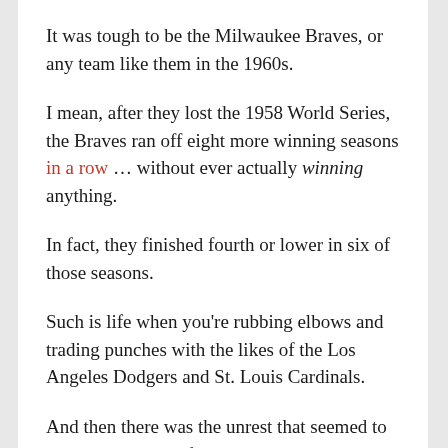It was tough to be the Milwaukee Braves, or any team like them in the 1960s.
I mean, after they lost the 1958 World Series, the Braves ran off eight more winning seasons in a row … without ever actually winning anything.
In fact, they finished fourth or lower in six of those seasons.
Such is life when you're rubbing elbows and trading punches with the likes of the Los Angeles Dodgers and St. Louis Cardinals.
And then there was the unrest that seemed to plague the Braves forever, and that prompted their